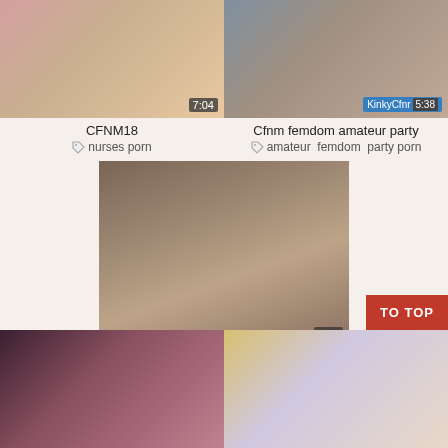[Figure (photo): Video thumbnail top-left: CFNM18, duration 7:04]
[Figure (photo): Video thumbnail top-right: Cfnm femdom amateur party, KinkyCfnm branding, duration 5:38]
CFNM18
nurses porn
Cfnm femdom amateur party
amateur  femdom  party porn
[Figure (photo): Center video thumbnail: cfnm - miss kendra and punk girl h..., duration 5:16]
cfnm - miss kendra and punk girl h...
girls xxx  handjob  punk
[Figure (photo): Bottom-left video thumbnail]
[Figure (photo): Bottom-right video thumbnail]